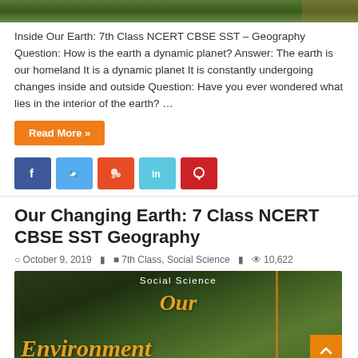[Figure (photo): Top partial image of forest/nature scene]
Inside Our Earth: 7th Class NCERT CBSE SST – Geography Question: How is the earth a dynamic planet? Answer: The earth is our homeland It is a dynamic planet It is constantly undergoing changes inside and outside Question: Have you ever wondered what lies in the interior of the earth? …
Read More »
[Figure (infographic): Social media share buttons: Facebook, Twitter, StumbleUpon, LinkedIn, Pinterest]
Our Changing Earth: 7 Class NCERT CBSE SST Geography
October 9, 2019   7th Class, Social Science   10,622
[Figure (photo): Book cover image with text 'Social Science', 'Our', 'Environment' on forest background]